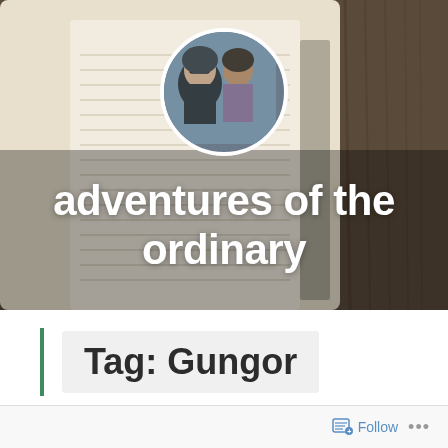[Figure (photo): Hero banner showing an open lined notebook on a wooden table, with a circular profile photo of a man and woman in the center top, and blog title text overlaid.]
adventures of the ordinary
Tag: Gungor
Follow ...